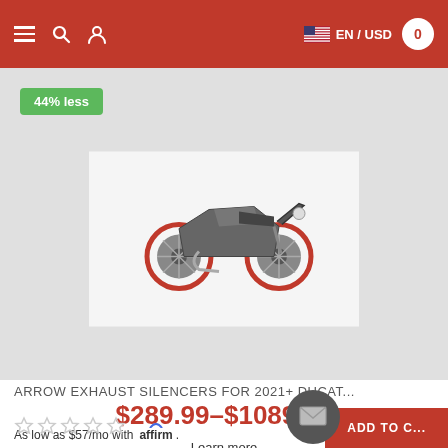EN / USD  0
[Figure (screenshot): Product image of a Ducati Monster motorcycle with red wheels and gray body on a light gray background, with a '44% less' green discount badge in the top-left corner.]
ARROW EXHAUST SILENCERS FOR 2021+ DUCAT...
$289.99–$1089.99
As low as $57/mo with affirm. Learn more
ADD TO CART